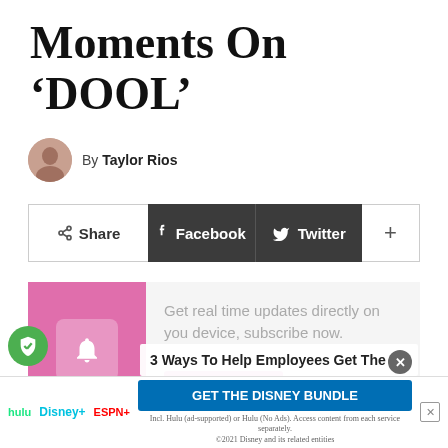Moments On ‘DOOL’
By Taylor Rios
[Figure (infographic): Social share bar with Share, Facebook, Twitter, and plus buttons]
[Figure (infographic): Subscribe notification banner with pink bell icon on left, text 'Get real time updates directly on you device, subscribe now.' and a Subscribe button]
[Figure (screenshot): Bottom portion of a webpage showing an article image partially visible at the bottom, with an advertisement overlay for the Disney Bundle (Hulu, Disney+, ESPN+) with text '3 Ways To Help Employees Get The...' and a close button]